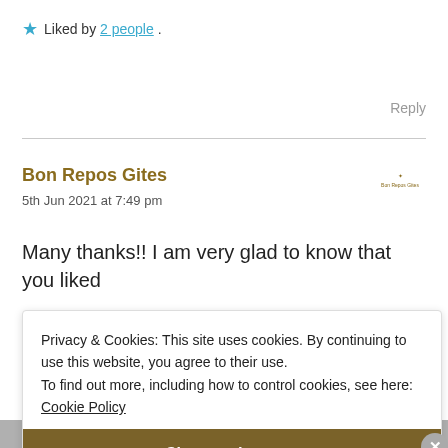★ Liked by 2 people .
Reply
Bon Repos Gites
5th Jun 2021 at 7:49 pm
Many thanks!! I am very glad to know that you liked
Privacy & Cookies: This site uses cookies. By continuing to use this website, you agree to their use.
To find out more, including how to control cookies, see here:
Cookie Policy
Close and accept